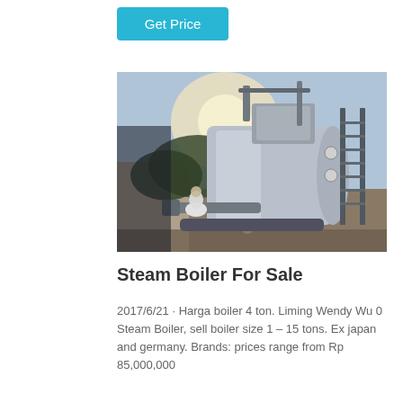Get Price
[Figure (photo): A large industrial steam boiler photographed outdoors. A person in white protective clothing works near the base of the large cylindrical stainless steel boiler. Metal pipes, gauges, and a ladder/scaffold structure are visible on the right side. The background shows a sky and a brick wall.]
Steam Boiler For Sale
2017/6/21 · Harga boiler 4 ton. Liming Wendy Wu 0 Steam Boiler, sell boiler size 1 – 15 tons. Ex japan and germany. Brands: prices range from Rp 85,000,000